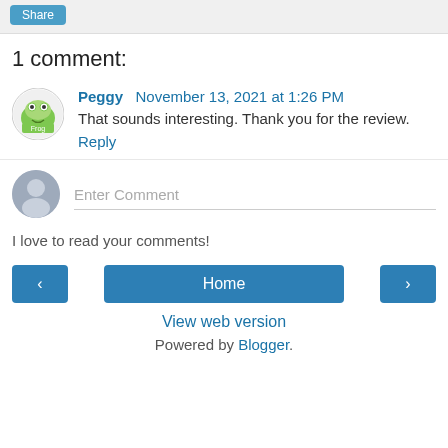[Figure (other): Share button in a gray bar at the top]
1 comment:
[Figure (photo): Avatar image for commenter Peggy - frog logo icon in a white circle]
Peggy November 13, 2021 at 1:26 PM
That sounds interesting. Thank you for the review.
Reply
[Figure (other): Anonymous user silhouette avatar for comment entry]
Enter Comment
I love to read your comments!
‹ Home ›
View web version
Powered by Blogger.